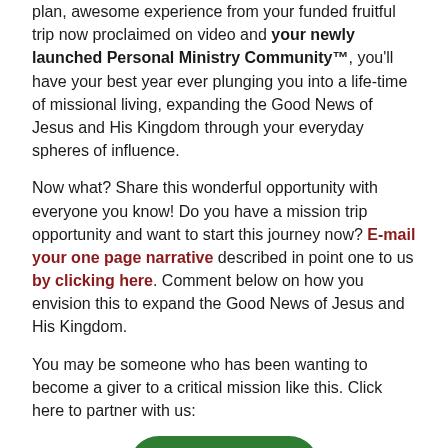plan, awesome experience from your funded fruitful trip now proclaimed on video and your newly launched Personal Ministry Community™, you'll have your best year ever plunging you into a life-time of missional living, expanding the Good News of Jesus and His Kingdom through your everyday spheres of influence.
Now what? Share this wonderful opportunity with everyone you know! Do you have a mission trip opportunity and want to start this journey now? E-mail your one page narrative described in point one to us by clicking here. Comment below on how you envision this to expand the Good News of Jesus and His Kingdom.
You may be someone who has been wanting to become a giver to a critical mission like this. Click here to partner with us:
[Figure (other): Green rounded rectangle button with bold red text reading 'Donate Now']